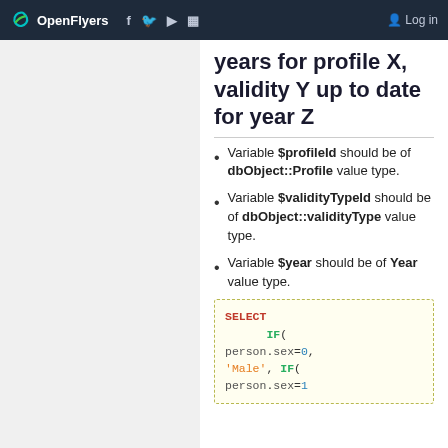OpenFlyers | Log in
years for profile X, validity Y up to date for year Z
Variable $profileId should be of dbObject::Profile value type.
Variable $validityTypeId should be of dbObject::validityType value type.
Variable $year should be of Year value type.
[Figure (screenshot): SQL code block showing SELECT IF(person.sex=0, 'Male', IF(person.sex=1...]